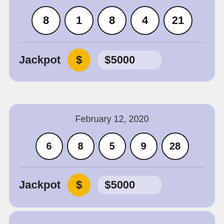[Figure (infographic): Lottery card (top, partial): 5 lottery balls showing numbers 8, 1, 8, 4, 21. Jackpot row: gold coin with $ sign, amount $5000.]
February 12, 2020
[Figure (infographic): Lottery card: date February 12, 2020, 5 lottery balls showing numbers 6, 8, 5, 9, 28. Jackpot row: gold coin with $ sign, amount $5000.]
[Figure (infographic): Lottery card (bottom, partial): beginning of another card visible at the bottom of the page.]